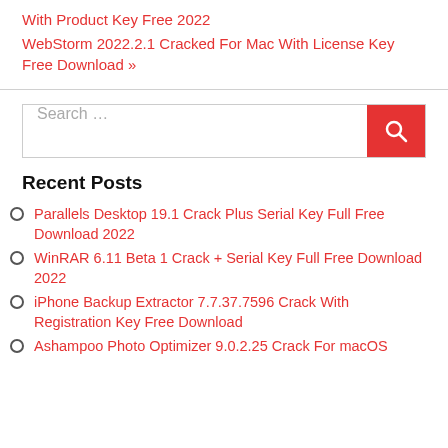With Product Key Free 2022
WebStorm 2022.2.1 Cracked For Mac With License Key Free Download »
[Figure (other): Search bar with red search button containing magnifying glass icon]
Recent Posts
Parallels Desktop 19.1 Crack Plus Serial Key Full Free Download 2022
WinRAR 6.11 Beta 1 Crack + Serial Key Full Free Download 2022
iPhone Backup Extractor 7.7.37.7596 Crack With Registration Key Free Download
Ashampoo Photo Optimizer 9.0.2.25 Crack For macOS